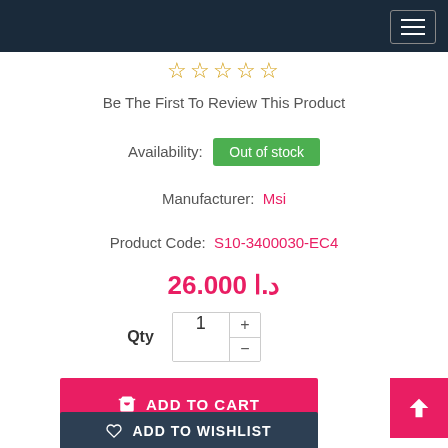[Figure (screenshot): Dark navy top navigation bar with hamburger menu icon on the right]
☆☆☆☆☆
Be The First To Review This Product
Availability: Out of stock
Manufacturer: Msi
Product Code: S10-3400030-EC4
د.ا 26.000
Qty 1
ADD TO CART
ADD TO WISHLIST